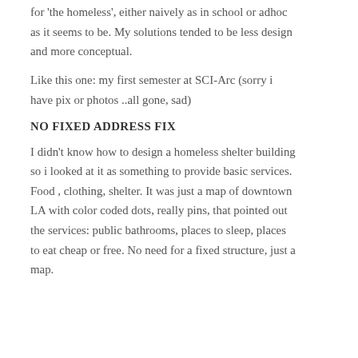for 'the homeless', either naively as in school or adhoc as it seems to be. My solutions tended to be less design and more conceptual.
Like this one: my first semester at SCI-Arc (sorry i have pix or photos ..all gone, sad)
NO FIXED ADDRESS FIX
I didn't know how to design a homeless shelter building so i looked at it as something to provide basic services. Food , clothing, shelter. It was just a map of downtown LA with color coded dots, really pins, that pointed out the services: public bathrooms, places to sleep, places to eat cheap or free. No need for a fixed structure, just a map.